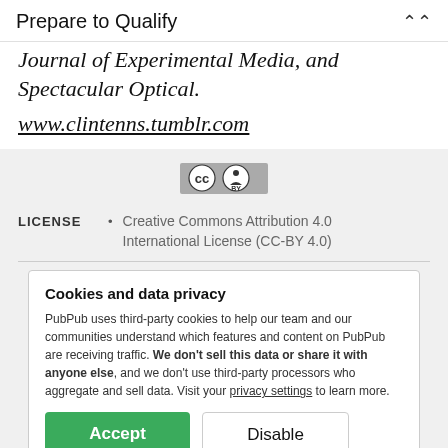Prepare to Qualify
Journal of Experimental Media, and Spectacular Optical.
www.clintenns.tumblr.com
[Figure (logo): Creative Commons BY license badge]
LICENSE • Creative Commons Attribution 4.0 International License (CC-BY 4.0)
Cookies and data privacy
PubPub uses third-party cookies to help our team and our communities understand which features and content on PubPub are receiving traffic. We don't sell this data or share it with anyone else, and we don't use third-party processors who aggregate and sell data. Visit your privacy settings to learn more.